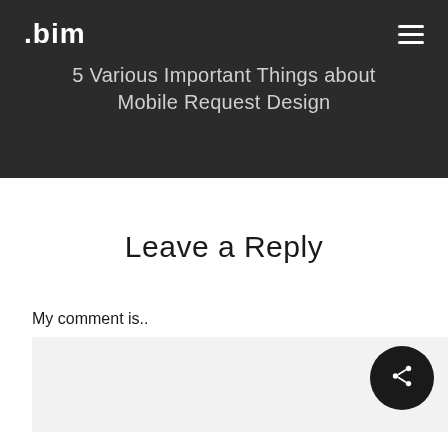.bim
5 Various Important Things about Mobile Request Design
Leave a Reply
My comment is..